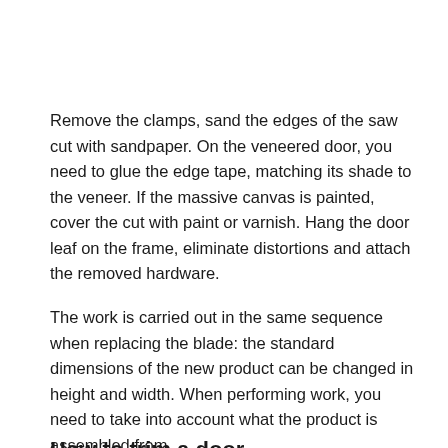Remove the clamps, sand the edges of the saw cut with sandpaper. On the veneered door, you need to glue the edge tape, matching its shade to the veneer. If the massive canvas is painted, cover the cut with paint or varnish. Hang the door leaf on the frame, eliminate distortions and attach the removed hardware.
The work is carried out in the same sequence when replacing the blade: the standard dimensions of the new product can be changed in height and width. When performing work, you need to take into account what the product is assembled from.
How to trim a door